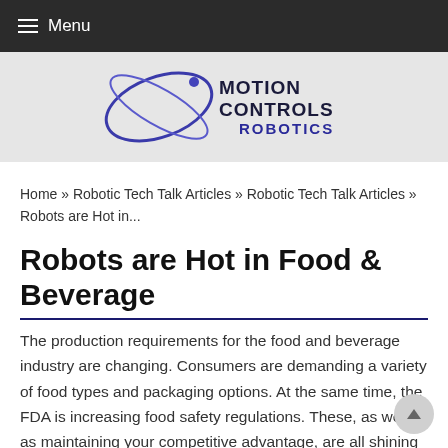≡ Menu
[Figure (logo): Motion Controls Robotics logo with stylized orbit graphic in blue/purple tones and company name in dark navy/black text]
Home » Robotic Tech Talk Articles » Robotic Tech Talk Articles » Robots are Hot in...
Robots are Hot in Food & Beverage
The production requirements for the food and beverage industry are changing. Consumers are demanding a variety of food types and packaging options. At the same time, the FDA is increasing food safety regulations. These, as well as maintaining your competitive advantage, are all shining a spotlight on flexible